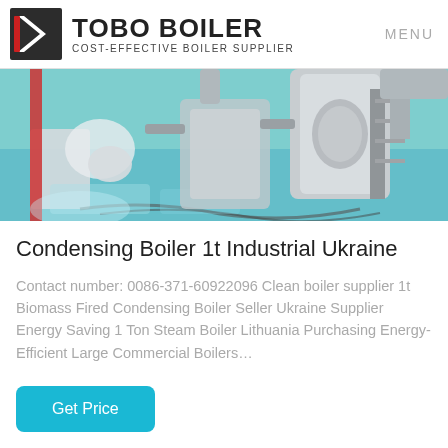TOBO BOILER COST-EFFECTIVE BOILER SUPPLIER | MENU
[Figure (photo): Industrial boiler facility interior with robotic/mechanical equipment on a teal-colored floor, with large cylindrical boiler tanks and metal structures visible.]
Condensing Boiler 1t Industrial Ukraine
Contact number: 0086-371-60922096 Clean boiler supplier 1t Biomass Fired Condensing Boiler Seller Ukraine Supplier Energy Saving 1 Ton Steam Boiler Lithuania Purchasing Energy-Efficient Large Commercial Boilers…
Get Price